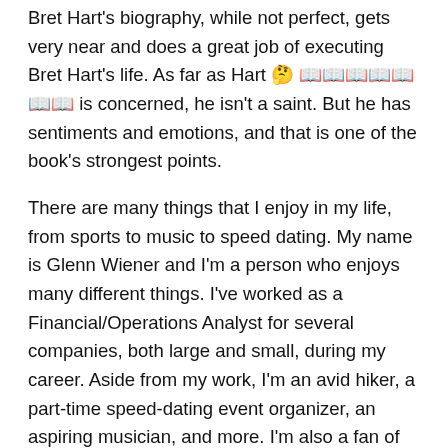Bret Hart's biography, while not perfect, gets very near and does a great job of executing Bret Hart's life. As far as Hart 🤔 📖📖📖📖📖📖📖 is concerned, he isn't a saint. But he has sentiments and emotions, and that is one of the book's strongest points.
There are many things that I enjoy in my life, from sports to music to speed dating. My name is Glenn Wiener and I'm a person who enjoys many different things. I've worked as a Financial/Operations Analyst for several companies, both large and small, during my career. Aside from my work, I'm an avid hiker, a part-time speed-dating event organizer, an aspiring musician, and more. I'm also a fan of sports and museums, as well as music. You can expect a wide range of writings from me in the future, on a wide